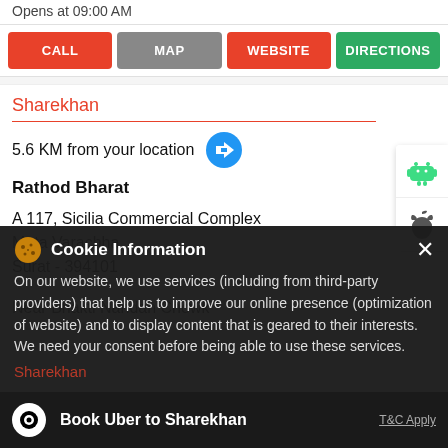Opens at 09:00 AM
CALL | MAP | WEBSITE | DIRECTIONS
Sharekhan
5.6 KM from your location
Rathod Bharat
A 117, Sicilia Commercial Complex
Mota Varachha
Surat - 394101
Near Bhakti Nandan Chowk
Cookie Information
On our website, we use services (including from third-party providers) that help us to improve our online presence (optimization of website) and to display content that is geared to their interests. We need your consent before being able to use these services.
Sharekhan
Book Uber to Sharekhan
T&C Apply